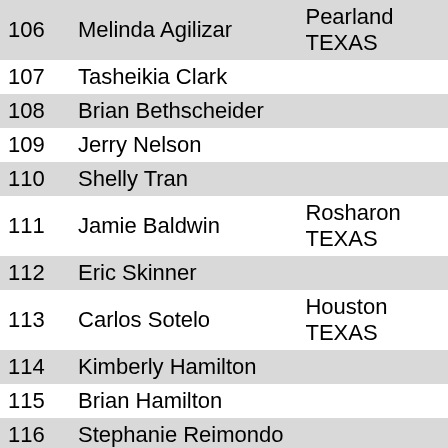| # | Name | Location |
| --- | --- | --- |
| 106 | Melinda Agilizar | Pearland TEXAS |
| 107 | Tasheikia Clark |  |
| 108 | Brian Bethscheider |  |
| 109 | Jerry Nelson |  |
| 110 | Shelly Tran |  |
| 111 | Jamie Baldwin | Rosharon TEXAS |
| 112 | Eric Skinner |  |
| 113 | Carlos Sotelo | Houston TEXAS |
| 114 | Kimberly Hamilton |  |
| 115 | Brian Hamilton |  |
| 116 | Stephanie Reimondo |  |
| 117 | Jim Wiehoff |  |
| 118 | Karenkay Wiehoff |  |
| 119 | Domingo Rivas |  |
| 120 | Sara Gonzales | Pearland TEXAS |
| 121 | Debbie Nelson | Pearland TEXAS |
| 122 | Haley Miller |  |
| 123 | Kody Hickman |  |